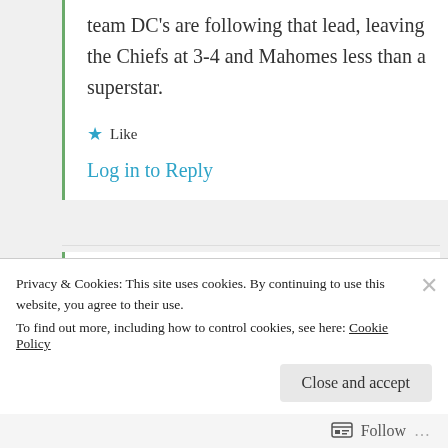team DC's are following that lead, leaving the Chiefs at 3-4 and Mahomes less than a superstar.
★ Like
Log in to Reply
theearthspins
October 26, 2021 at 7:24 pm
Privacy & Cookies: This site uses cookies. By continuing to use this website, you agree to their use.
To find out more, including how to control cookies, see here: Cookie Policy
Close and accept
Follow